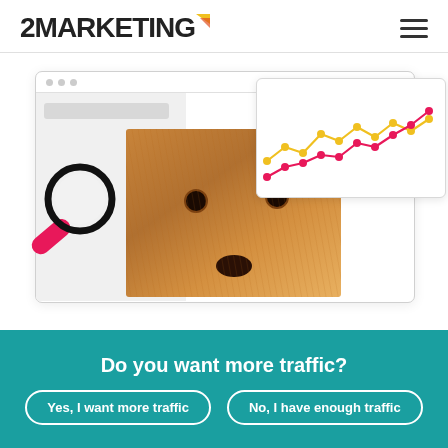2MARKETING
[Figure (illustration): Marketing illustration showing a browser window mockup with a dog photo, a magnifying glass icon with pink handle, and a line chart overlay showing two data series (yellow and pink/red lines) trending upward]
Do you want more traffic?
Yes, I want more traffic
No, I have enough traffic